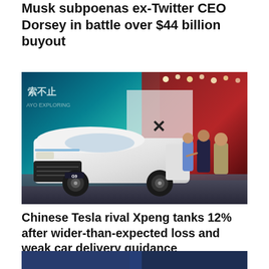Musk subpoenas ex-Twitter CEO Dorsey in battle over $44 billion buyout
[Figure (photo): White Xpeng G9 electric SUV on display at an auto show, with three men conversing beside it, blue and red brand signage in background including Chinese text and AYO EXPLORING branding]
Chinese Tesla rival Xpeng tanks 12% after wider-than-expected loss and weak car delivery guidance
[Figure (photo): Partial view of a dark interior scene, bottom of page, partially cropped]